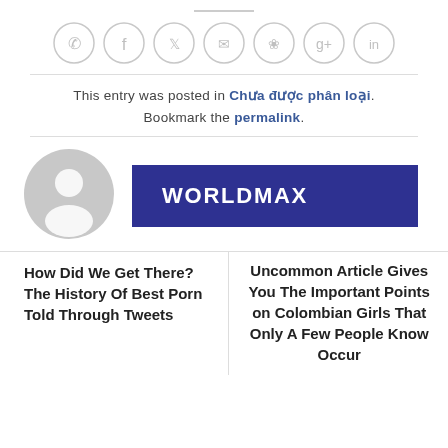[Figure (infographic): Row of 7 social media/share icon circles (phone, facebook, twitter, email, pinterest, google+, linkedin) in light gray]
This entry was posted in Chưa được phân loại. Bookmark the permalink.
[Figure (photo): Gray default user avatar silhouette circle, with dark blue banner showing WORLDMAX in bold white text]
How Did We Get There? The History Of Best Porn Told Through Tweets
Uncommon Article Gives You The Important Points on Colombian Girls That Only A Few People Know Occur